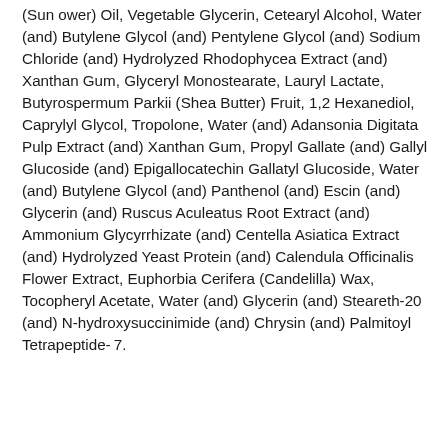(Sunflower) Oil, Vegetable Glycerin, Cetearyl Alcohol, Water (and) Butylene Glycol (and) Pentylene Glycol (and) Sodium Chloride (and) Hydrolyzed Rhodophycea Extract (and) Xanthan Gum, Glyceryl Monostearate, Lauryl Lactate, Butyrospermum Parkii (Shea Butter) Fruit, 1,2 Hexanediol, Caprylyl Glycol, Tropolone, Water (and) Adansonia Digitata Pulp Extract (and) Xanthan Gum, Propyl Gallate (and) Gallyl Glucoside (and) Epigallocatechin Gallatyl Glucoside, Water (and) Butylene Glycol (and) Panthenol (and) Escin (and) Glycerin (and) Ruscus Aculeatus Root Extract (and) Ammonium Glycyrrhizate (and) Centella Asiatica Extract (and) Hydrolyzed Yeast Protein (and) Calendula Officinalis Flower Extract, Euphorbia Cerifera (Candelilla) Wax, Tocopheryl Acetate, Water (and) Glycerin (and) Steareth-20 (and) N-hydroxysuccinimide (and) Chrysin (and) Palmitoyl Tetrapeptide-7.